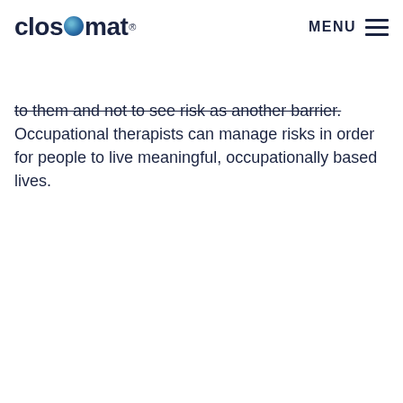closomat® MENU
to them and not to see risk as another barrier. Occupational therapists can manage risks in order for people to live meaningful, occupationally based lives.